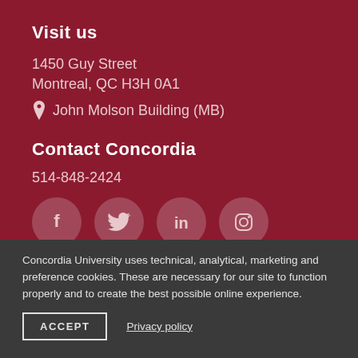Visit us
1450 Guy Street
Montreal, QC  H3H 0A1
📍 John Molson Building (MB)
Contact Concordia
514-848-2424
[Figure (infographic): Social media icons: Facebook, Twitter, LinkedIn, Instagram — circular pinkish icons on burgundy background]
Concordia University uses technical, analytical, marketing and preference cookies. These are necessary for our site to function properly and to create the best possible online experience.
ACCEPT    Privacy policy